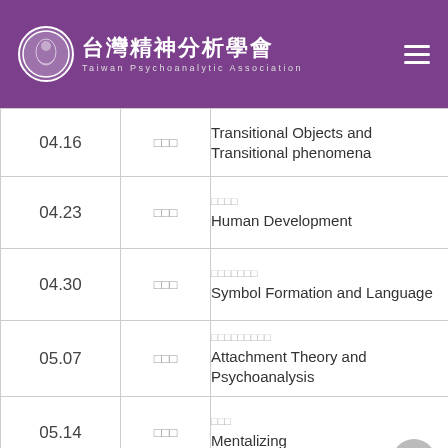台灣精神分析學會 Taiwan Psychoanalytic Association
| Date | Speaker | Topic |
| --- | --- | --- |
| 04.16 | 講師姓名 | Transitional Objects and Transitional phenomena |
| 04.23 | 講師姓名 | 人類發展
Human Development |
| 04.30 | 講師姓名 | 符號形成與語言
Symbol Formation and Language |
| 05.07 | 講師姓名 | 依附理論與精神分析
Attachment Theory and Psychoanalysis |
| 05.14 | 講師姓名 | 心智化
Mentalizing |
| — | 講師姓名 |  |